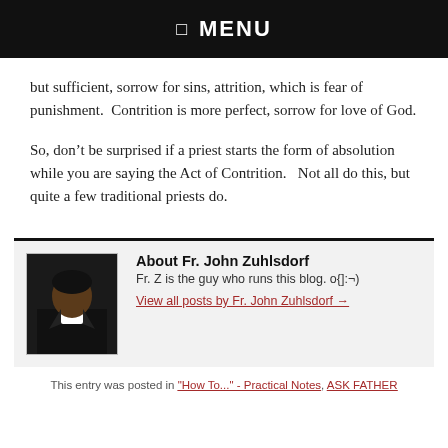☰  MENU
but sufficient, sorrow for sins, attrition, which is fear of punishment.  Contrition is more perfect, sorrow for love of God.
So, don't be surprised if a priest starts the form of absolution while you are saying the Act of Contrition.   Not all do this, but quite a few traditional priests do.
About Fr. John Zuhlsdorf
Fr. Z is the guy who runs this blog. o{]:¬)
View all posts by Fr. John Zuhlsdorf →
This entry was posted in "How To..." - Practical Notes, ASK FATHER